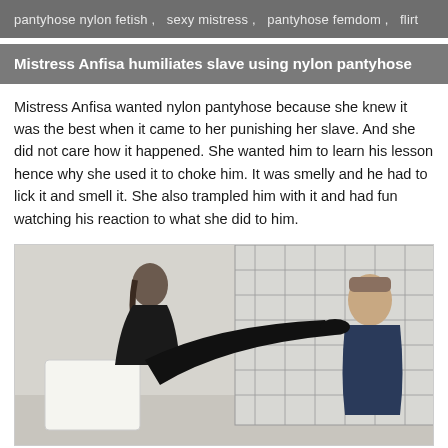pantyhose nylon fetish ,  sexy mistress ,  pantyhose femdom ,  flirt
Mistress Anfisa humiliates slave using nylon pantyhose
Mistress Anfisa wanted nylon pantyhose because she knew it was the best when it came to her punishing her slave. And she did not care how it happened. She wanted him to learn his lesson hence why she used it to choke him. It was smelly and he had to lick it and smell it. She also trampled him with it and had fun watching his reaction to what she did to him.
[Figure (photo): Photo of a woman in black dress and black nylon pantyhose extending her leg toward a man's face, seated on a white chair in an indoor setting with a shoji screen background.]